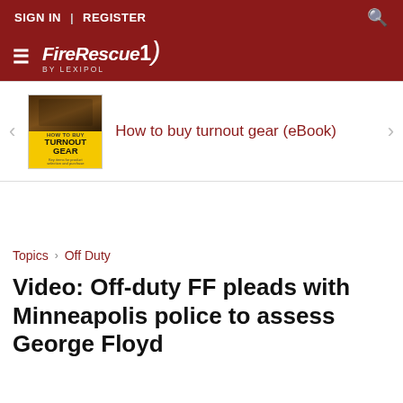SIGN IN  |  REGISTER
[Figure (logo): FireRescue1 by Lexipol logo on dark red background with hamburger menu icon]
[Figure (illustration): Promotional card: How to buy turnout gear (eBook) with yellow book cover thumbnail]
How to buy turnout gear (eBook)
Topics  >  Off Duty
Video: Off-duty FF pleads with Minneapolis police to assess George Floyd